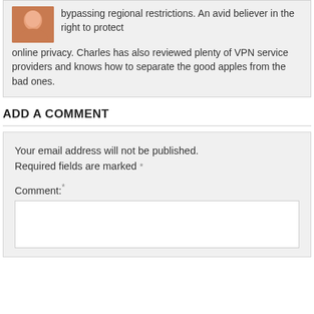bypassing regional restrictions. An avid believer in the right to protect online privacy. Charles has also reviewed plenty of VPN service providers and knows how to separate the good apples from the bad ones.
ADD A COMMENT
Your email address will not be published. Required fields are marked *
Comment: *